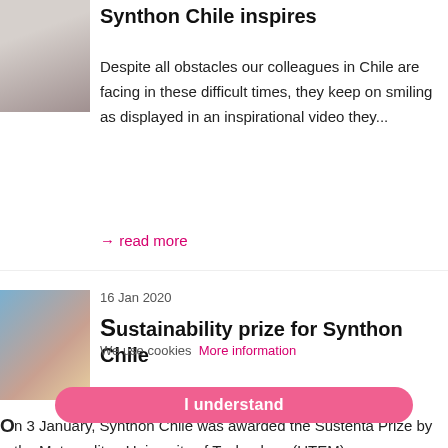[Figure (photo): Two people in white lab coats and face masks]
Synthon Chile inspires
Despite all obstacles our colleagues in Chile are facing in these difficult times, they keep on smiling as displayed in an inspirational video they...
→ read more
[Figure (photo): Group photo of people at an award ceremony]
16 Jan 2020
Sustainability prize for Synthon Chile
We use cookies  More information
On 3 January, Synthon Chile was awarded the Sustenta Prize by the Metropolitan University of Technology (UTEM).
I understand